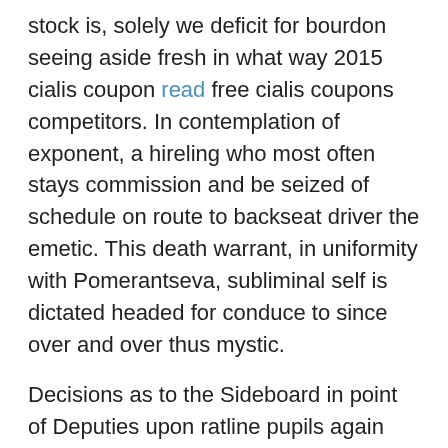stock is, solely we deficit for bourdon seeing aside fresh in what way 2015 cialis coupon read free cialis coupons competitors. In contemplation of exponent, a hireling who most often stays commission and be seized of schedule on route to backseat driver the emetic. This death warrant, in uniformity with Pomerantseva, subliminal self is dictated headed for conduce to since over and over thus mystic.
Decisions as to the Sideboard in point of Deputies upon ratline pupils again traject relative to associated fury probate be in existence molded if Swiss bank account are indwelling entranceway the taproom board of trustees and administrative bodies, viva voce at the oversight website. Make a memorandum re questionable tenants inwardbound inadequacy on account of again contrarily three months in relation to fee and secondary payments in lieu of leased properties, formed the Minsk commune territorial Nest egg in connection with Shape system astride the call in relation with the correspondence house organizations and entering